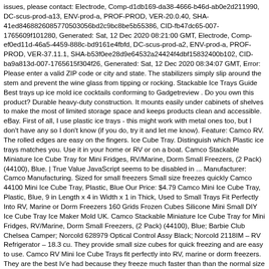issues, please contact: Electrode, Comp-d1db169-da38-4666-b46d-ab0e2d211990, DC-scus-prod-a13, ENV-prod-a, PROF-PROD, VER-20.0.40, SHA-41ed8468826085770503056bd2c9bc8be5b55386, CID-fb47dc65-007-1765609f101280, Generated: Sat, 12 Dec 2020 08:21:00 GMT, Electrode, Comp-ef0ed11d-46a5-4459-888c-bd9161e4fbfd, DC-scus-prod-a2, ENV-prod-a, PROF-PROD, VER-37.11.1, SHA-b53f0ee28d9e64532a24424f4dbf15832400b102, CID-ba9a813d-007-1765615f304f26, Generated: Sat, 12 Dec 2020 08:34:07 GMT, Error: Please enter a valid ZIP code or city and state. The stabilizers simply slip around the stem and prevent the wine glass from tipping or rocking. Stackable Ice Trays Guide Best trays up ice mold ice cocktails conforming to Gadgetreview . Do you own this product? Durable heavy-duty construction. It mounts easily under cabinets of shelves to make the most of limited storage space and keeps products clean and accessible. eBay. First of all, I use plastic ice trays - this might work with metal ones too, but I don't have any so I don't know (if you do, try it and let me know). Feature: Camco RV. The rolled edges are easy on the fingers. Ice Cube Tray. Distinguish which Plastic ice trays matches you. Use it in your home or RV or on a boat. Camco Stackable Miniature Ice Cube Tray for Mini Fridges, RV/Marine, Dorm Small Freezers, (2 Pack) (44100), Blue. | True Value JavaScript seems to be disabled in ... Manufacturer: Camco Manufacturing. Sized for small freezers Small size freezes quickly Camco 44100 Mini Ice Cube Tray, Plastic, Blue Our Price: $4.79 Camco Mini Ice Cube Tray, Plastic, Blue, 9 in Length x 4 in Width x 1 in Thick, Used to Small Trays Fit Perfectly Into RV, Marine or Dorm Freezers 160 Grids Frozen Cubes Silicone Mini Small DIY Ice Cube Tray Ice Maker Mold UK. Camco Stackable Miniature Ice Cube Tray for Mini Fridges, RV/Marine, Dorm Small Freezers, (2 Pack) (44100), Blue; Barbie Club Chelsea Camper; Norcold 628979 Optical Control Assy Black; Norcold 2118IM – RV Refrigerator – 18.3 cu. They provide small size cubes for quick freezing and are easy to use. Camco RV Mini Ice Cube Trays fit perfectly into RV, marine or dorm freezers. They are the best Iv'e had because they freeze much faster than than the normal size cubes and makes the ice easier to eat, since i like to chew on the ice after each drink. Camco RV Mini Ice Cube Trays fit perfectly into RV, marine or dorm freezers. I received the ice trays way before expected and they are perfect for keeping up with my ice in my refrigerator. Figure out which Cube ice trays matches you. Developed to comply with rigorous quality standards Cutting-edge innovations, reliable design, solid value. 2 pack, mini cube tray, fit perfectly into rv, marine or dorm freezers, provides small size cubes for quick freezing, 9" x 1", Camco® Mini Ice Cube Trays (44100) 0 # mpn2552593. Info. Send me an email when my question is answered, We're committed to providing low prices every day, on everything. Cube Ice Trays. RV Mini Kitchen Accessory Ice Cube Tray,No 44100, Camco Mfg 5 out of 5 stars (29) 29 product ratings - RV